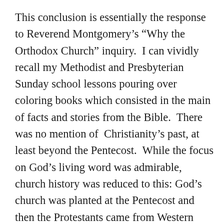This conclusion is essentially the response to Reverend Montgomery's “Why the Orthodox Church” inquiry. I can vividly recall my Methodist and Presbyterian Sunday school lessons pouring over coloring books which consisted in the main of facts and stories from the Bible. There was no mention of Christianity’s past, at least beyond the Pentecost. While the focus on God’s living word was admirable, church history was reduced to this: God’s church was planted at the Pentecost and then the Protestants came from Western Europe to America. I may be stupid (and here you don’t have to agree so quickly with me), but doesn’t that leave something out? We may have spent a very small amount of time studying the history of our own particular faith (Methodist or Presbyterian), but of course this was a history of at most 300 years and was very sketchy even then. The Church